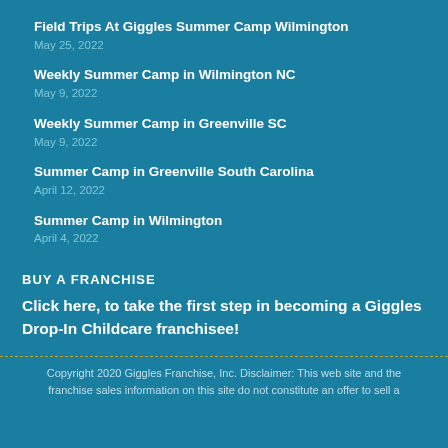Field Trips At Giggles Summer Camp Wilmington
May 25, 2022
Weekly Summer Camp in Wilmington NC
May 9, 2022
Weekly Summer Camp in Greenville SC
May 9, 2022
Summer Camp in Greenville South Carolina
April 12, 2022
Summer Camp in Wilmington
April 4, 2022
BUY A FRANCHISE
Click here, to take the first step in becoming a Giggles Drop-In Childcare franchisee!
Copyright 2020 Giggles Franchise, Inc. Disclaimer: This web site and the franchise sales information on this site do not constitute an offer to sell a